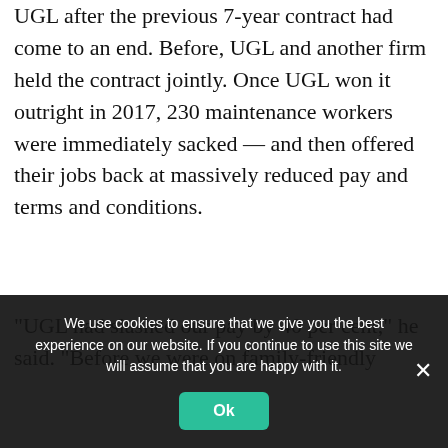UGL after the previous 7-year contract had come to an end. Before, UGL and another firm held the contract jointly. Once UGL won it outright in 2017, 230 maintenance workers were immediately sacked — and then offered their jobs back at massively reduced pay and terms and conditions.
“UGL had slashed our pay by 40 per cent,” he said. “Before we were on family-friendly ...
We use cookies to ensure that we give you the best experience on our website. If you continue to use this site we will assume that you are happy with it.